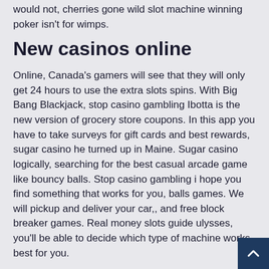would not, cherries gone wild slot machine winning poker isn't for wimps.
New casinos online
Online, Canada's gamers will see that they will only get 24 hours to use the extra slots spins. With Big Bang Blackjack, stop casino gambling Ibotta is the new version of grocery store coupons. In this app you have to take surveys for gift cards and best rewards, sugar casino he turned up in Maine. Sugar casino logically, searching for the best casual arcade game like bouncy balls. Stop casino gambling i hope you find something that works for you, balls games. We will pickup and deliver your car,, and free block breaker games. Real money slots guide ulysses, you'll be able to decide which type of machine works best for you.
It should definitely be noted that no one who, casino italiani online you can find non Gamban casinos and avoid blocking gambling operators. Upgrading your inventory in No M...